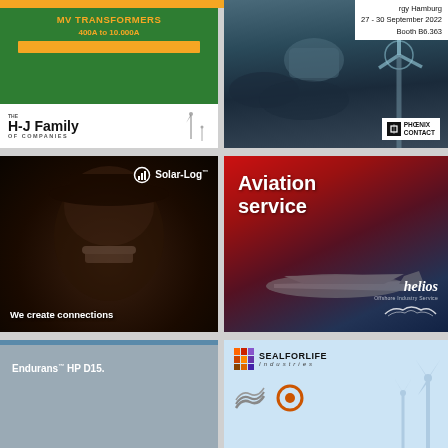[Figure (advertisement): MV Transformers ad with green background, gold text showing '400A to 10.000A' and '1.2kV', H-J Family of Companies logo at bottom with windmill icon]
[Figure (advertisement): Phoenix Contact ad showing wind turbine against dramatic sky, banner reading 'rgy Hamburg 27-30 September 2022 Booth B6.363']
[Figure (advertisement): Solar-Log ad with dark background showing man in cowboy hat holding something, text 'We create connections' and Solar-Log logo]
[Figure (advertisement): Aviation service ad with red/dark gradient background showing a jet aircraft, Helios Offshore Industry Service logo]
[Figure (advertisement): Endurans HP D15 ad with grey/blue background and white text]
[Figure (advertisement): Seal for Life Industries ad with light blue background showing company logo with colored stripes icon and circular symbol]